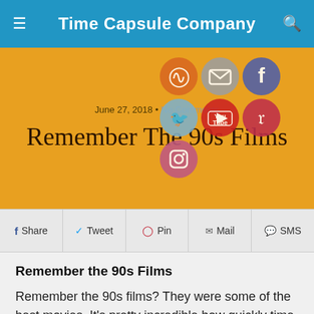Time Capsule Company
June 27, 2018 • No Comments
Remember The 90s Films
[Figure (infographic): Social media icons: RSS, Mail, Facebook, Twitter, YouTube, Pinterest, Instagram]
Share  Tweet  Pin  Mail  SMS
Remember the 90s Films
Remember the 90s films? They were some of the best movies. It's pretty incredible how quickly time flies. After all, it looks like only yesterday people were trying to determine what to call the decade that just passed–and apparently, nobody has quite figured that